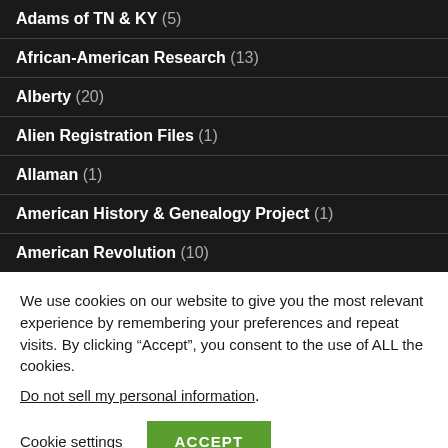Adams of TN & KY (5)
African-American Research (13)
Alberty (20)
Alien Registration Files (1)
Allaman (1)
American History & Genealogy Project (1)
American Revolution (10)
We use cookies on our website to give you the most relevant experience by remembering your preferences and repeat visits. By clicking “Accept”, you consent to the use of ALL the cookies.
Do not sell my personal information.
Cookie settings   ACCEPT